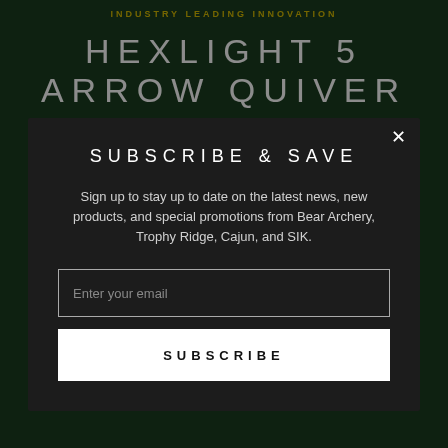INDUSTRY LEADING INNOVATION
HEXLIGHT 5 ARROW QUIVER
SUBSCRIBE & SAVE
Sign up to stay up to date on the latest news, new products, and special promotions from Bear Archery, Trophy Ridge, Cajun, and SIK.
Enter your email
SUBSCRIBE